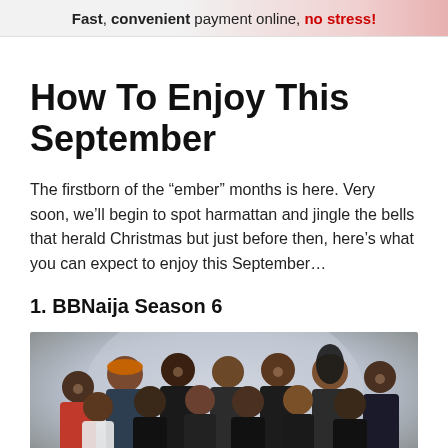Fast, convenient payment online, no stress!
How To Enjoy This September
The firstborn of the “ember” months is here. Very soon, we’ll begin to spot harmattan and jingle the bells that herald Christmas but just before then, here’s what you can expect to enjoy this September…
1. BBNaija Season 6
[Figure (photo): Group photo of BBNaija Season 6 housemates, multiple people posing together in dark outfits against a light background]